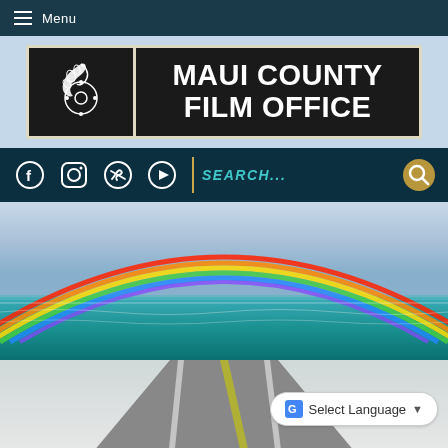Menu
[Figure (logo): Maui County Film Office logo with film reel and Hawaiian design on black background with decorative border]
[Figure (screenshot): Social media bar with Facebook, Instagram, Twitter, YouTube icons and SEARCH... placeholder text with magnifying glass icon]
[Figure (photo): Hero photo of Maui landscape with rainbow over ocean and road in foreground]
Select Language